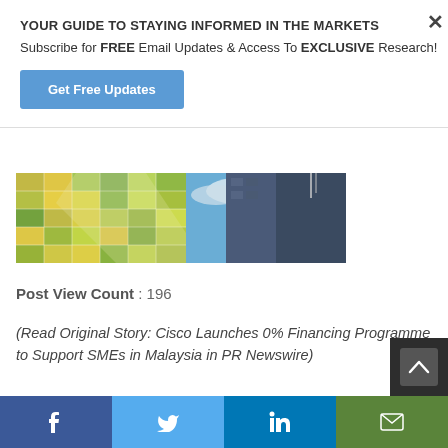YOUR GUIDE TO STAYING INFORMED IN THE MARKETS
Subscribe for FREE Email Updates & Access To EXCLUSIVE Research!
Get Free Updates
[Figure (photo): Looking up at a glass-and-steel building facade against a blue cloudy sky, with a colorful reflective exterior showing green, orange, and yellow tones.]
Post View Count : 196
(Read Original Story: Cisco Launches 0% Financing Programme to Support SMEs in Malaysia in PR Newswire)
[Figure (other): Social sharing bar with Facebook, Twitter, LinkedIn, and Email buttons at the bottom of the page.]